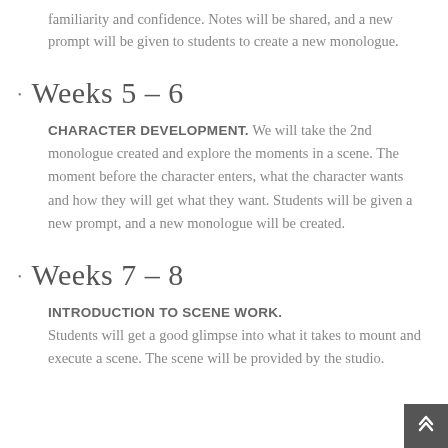familiarity and confidence. Notes will be shared, and a new prompt will be given to students to create a new monologue.
Weeks 5 – 6
CHARACTER DEVELOPMENT. We will take the 2nd monologue created and explore the moments in a scene. The moment before the character enters, what the character wants and how they will get what they want. Students will be given a new prompt, and a new monologue will be created.
Weeks 7 – 8
INTRODUCTION TO SCENE WORK. Students will get a good glimpse into what it takes to mount and execute a scene. The scene will be provided by the studio.